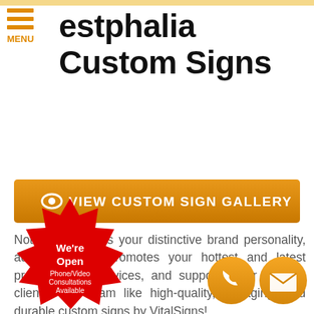Westphalia Custom Signs
[Figure (other): Orange button with eye icon: VIEW CUSTOM SIGN GALLERY]
Nothing highlights your distinctive brand personality, advertises and promotes your hottest and latest products and services, and supports your visitors, clients, and team like high-quality, engaging, and durable custom signs by VitalSigns!
[Figure (other): Red starburst badge with text: We're Open Phone/Video Consultations Available]
[Figure (other): Two orange circular icons: phone and email/envelope]